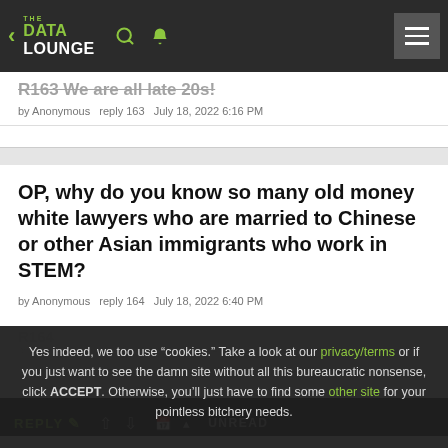THE DATA LOUNGE
R163 We are all late 20s!
by Anonymous   reply 163   July 18, 2022 6:16 PM
OP, why do you know so many old money white lawyers who are married to Chinese or other Asian immigrants who work in STEM?
by Anonymous   reply 164   July 18, 2022 6:40 PM
Yes indeed, we too use "cookies." Take a look at our privacy/terms or if you just want to see the damn site without all this bureaucratic nonsense, click ACCEPT. Otherwise, you'll just have to find some other site for your pointless bitchery needs.
REPLY  ▲  ▼  UNREAD